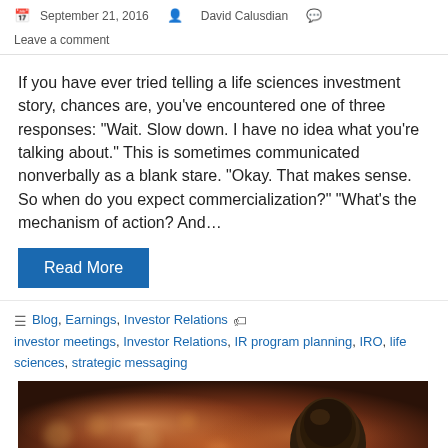September 21, 2016  David Calusdian  Leave a comment
If you have ever tried telling a life sciences investment story, chances are, you’ve encountered one of three responses: “Wait. Slow down. I have no idea what you’re talking about.” This is sometimes communicated nonverbally as a blank stare. “Okay. That makes sense. So when do you expect commercialization?” “What’s the mechanism of action? And…
Read More
Blog, Earnings, Investor Relations  investor meetings, Investor Relations, IR program planning, IRO, life sciences, strategic messaging
[Figure (photo): Audience view photo showing back of a man's head facing a blurred crowd in a warm-lit auditorium]